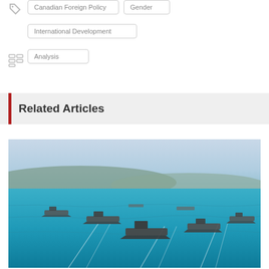Canadian Foreign Policy
Gender
International Development
Analysis
Related Articles
[Figure (photo): Aerial view of multiple naval warships sailing in formation on bright turquoise/blue ocean water, with a hilly coastline visible in the background under a hazy blue-white sky.]